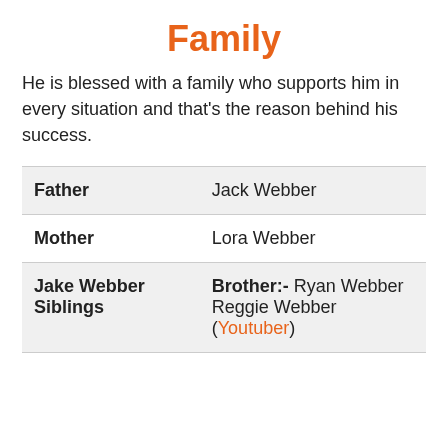Family
He is blessed with a family who supports him in every situation and that’s the reason behind his success.
|  |  |
| --- | --- |
| Father | Jack Webber |
| Mother | Lora Webber |
| Jake Webber Siblings | Brother:- Ryan Webber Reggie Webber (Youtuber) |